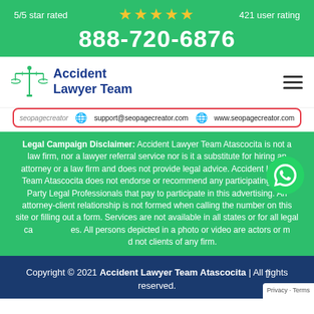5/5 star rated ★★★★★ 421 user rating 888-720-6876
[Figure (logo): Accident Lawyer Team logo with scales of justice icon]
[Figure (infographic): SEO Page Creator banner with support@seopagecreator.com and www.seopagecreator.com]
Legal Campaign Disclaimer: Accident Lawyer Team Atascocita is not a law firm, nor a lawyer referral service nor is it a substitute for hiring an attorney or a law firm and does not provide legal advice. Accident Lawyer Team Atascocita does not endorse or recommend any participating Third Party Legal Professionals that pay to participate in this advertising. An attorney-client relationship is not formed when calling the number on this site or filling out a form. Services are not available in all states or for all legal cases. All persons depicted in a photo or video are actors or models and not clients of any firm.
Copyright © 2021 Accident Lawyer Team Atascocita | All rights reserved.